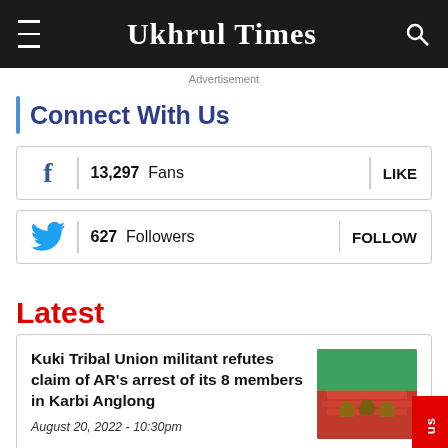Ukhrul Times
Advertisement
Connect With Us
13,297 Fans   LIKE
627 Followers   FOLLOW
Latest
Kuki Tribal Union militant refutes claim of AR's arrest of its 8 members in Karbi Anglong
August 20, 2022 - 10:30pm
[Figure (photo): News article thumbnail image showing people at a ceremony with red backdrop]